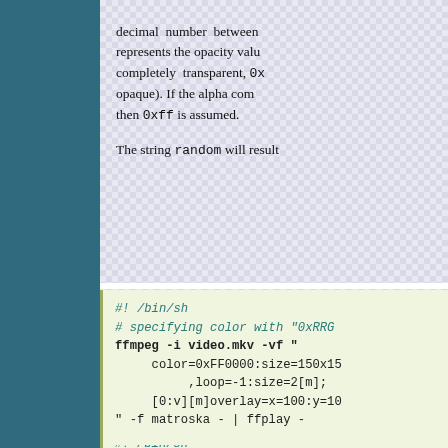decimal number between ... represents the opacity value ... completely transparent, 0x... opaque). If the alpha com... then 0xff is assumed. The string random will result...
#! /bin/sh
# specifying color with "0xRRG...
ffmpeg -i video.mkv -vf "
    color=0xFF0000:size=150x15...
         ,loop=-1:size=2[m];
    [0:v][m]overlay=x=100:y=10...
" -f matroska - | ffplay -
#! /bin/sh
# specifying color with "#RRGG...
ffmpeg -i video.mkv -vf "
    color=#FF0000:size=150x150...
         ,loop=-1:size=2[m];
    [0:v][m]overlay=x=100:y=10...
" -f matroska - | ffplay -